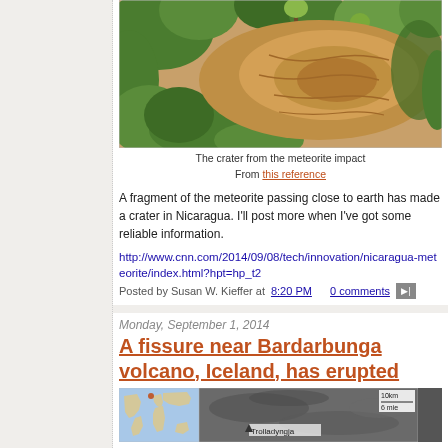[Figure (photo): Aerial view of crater from meteorite impact in Nicaragua, showing orange-brown soil surrounded by green vegetation]
The crater from the meteorite impact
From this reference
A fragment of the meteorite passing close to earth has made a crater in Nicaragua. I'll post more when I've got some reliable information.
http://www.cnn.com/2014/09/08/tech/innovation/nicaragua-meteorite/index.html?hpt=hp_t2
Posted by Susan W. Kieffer at 8:20 PM   0 comments
Monday, September 1, 2014
A fissure near Bardarbunga volcano, Iceland, has erupted
[Figure (photo): Two-panel image: left panel shows a world map with a dot marking Iceland; right panel shows a satellite view of the Trolladyngja area near Bardarbunga volcano with a scale bar showing 10km/6mi]